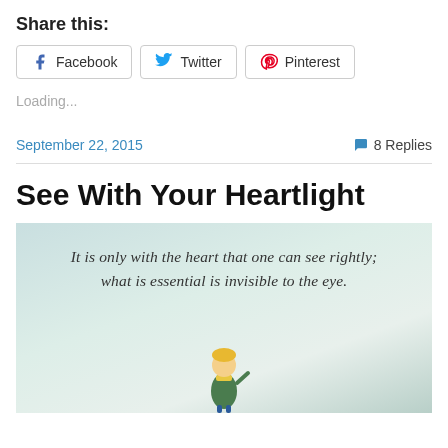Share this:
Facebook
Twitter
Pinterest
Loading...
September 22, 2015
8 Replies
See With Your Heartlight
[Figure (illustration): Illustration with quote text over a watercolor background showing the Little Prince figure. Text reads: 'It is only with the heart that one can see rightly; what is essential is invisible to the eye.']